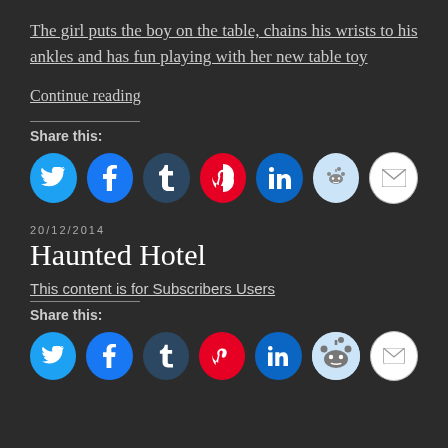The girl puts the boy on the table, chains his wrists to his ankles and has fun playing with her new table toy
Continue reading
Share this:
[Figure (infographic): Row of 7 social share buttons: Twitter (blue), Facebook (blue), Tumblr (dark blue), Pinterest (red), LinkedIn (blue), Reddit (light blue), Email (white)]
20/12/2014
Haunted Hotel
This content is for Subscribers Users
Share this:
[Figure (infographic): Row of 7 social share buttons: Twitter (blue), Facebook (blue), Tumblr (dark blue), Pinterest (red), LinkedIn (blue), Reddit (light blue), Email (white)]